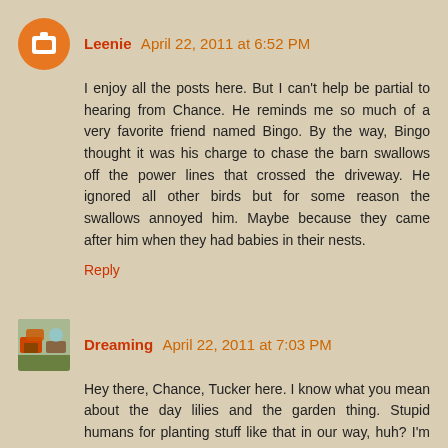Leenie April 22, 2011 at 6:52 PM
I enjoy all the posts here. But I can't help be partial to hearing from Chance. He reminds me so much of a very favorite friend named Bingo. By the way, Bingo thought it was his charge to chase the barn swallows off the power lines that crossed the driveway. He ignored all other birds but for some reason the swallows annoyed him. Maybe because they came after him when they had babies in their nests.
Reply
Dreaming April 22, 2011 at 7:03 PM
Hey there, Chance, Tucker here. I know what you mean about the day lilies and the garden thing. Stupid humans for planting stuff like that in our way, huh? I'm not sure what you mean by squirrels... I haven't seen one. Guess they don't live here. I like chasing the neighbor's cats. Cant' catch them, though. They are faster than me - which